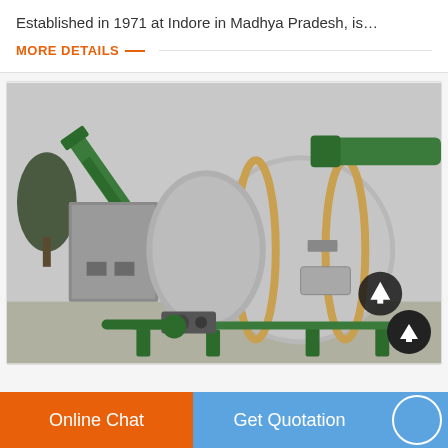Established in 1971 at Indore in Madhya Pradesh, is…
MORE DETAILS
[Figure (photo): Industrial rotary drum dryer/mixer machine with green metal frame, conveyor belt on the left, large silver cylindrical drum in the center, and green pipe duct on the upper right. Machine is mounted on green metal supports on a concrete pad.]
Online Chat
Get Quotation